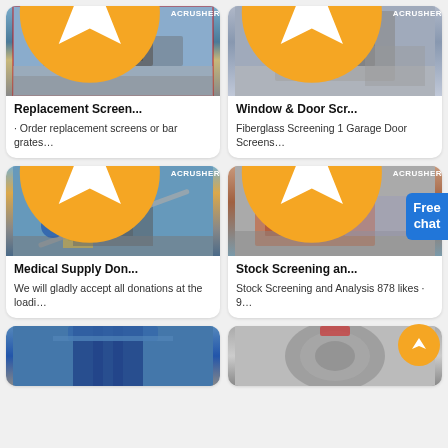[Figure (photo): Industrial crusher machine photo with Acrusher logo badge]
Replacement Screen...
· Order replacement screens or bar grates…
[Figure (photo): Industrial screening machine with Acrusher logo badge]
Window & Door Scr...
Fiberglass Screening 1 Garage Door Screens…
[Figure (photo): Large industrial plant with yellow structure and Acrusher logo badge]
Medical Supply Don...
We will gladly accept all donations at the loadi…
[Figure (photo): Orange industrial screening equipment with Acrusher logo badge and Free chat button overlay]
Stock Screening an...
Stock Screening and Analysis 878 likes · 9…
[Figure (photo): Blue industrial cylindrical equipment partially visible at bottom]
[Figure (photo): Silver/grey cone crusher equipment partially visible at bottom]